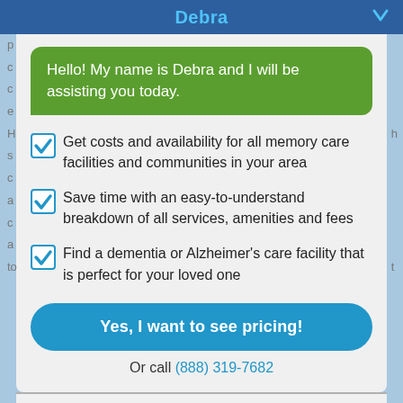Debra
Hello! My name is Debra and I will be assisting you today.
Get costs and availability for all memory care facilities and communities in your area
Save time with an easy-to-understand breakdown of all services, amenities and fees
Find a dementia or Alzheimer's care facility that is perfect for your loved one
Yes, I want to see pricing!
Or call (888) 319-7682
(888) 595-9929